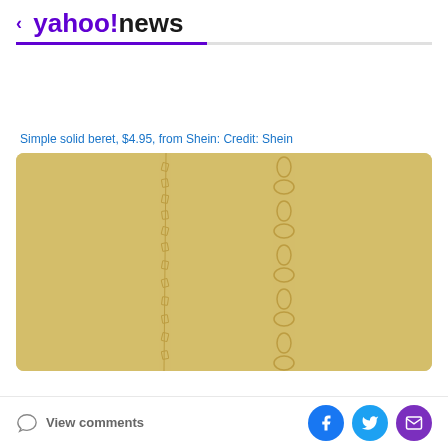< yahoo!news
Simple solid beret, $4.95, from Shein: Credit: Shein
[Figure (photo): Close-up photo of gold chain necklaces displayed against a tan/gold leather background, showing two different chain styles]
View comments